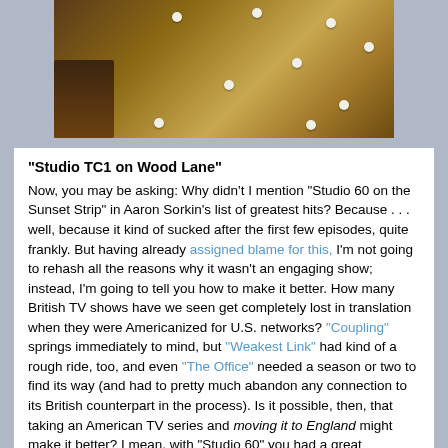[Figure (photo): Overhead photo of a wooden surface with several small white round objects (possibly buttons or beads) scattered on it, with part of a dark wooden object on the left edge.]
"Studio TC1 on Wood Lane"
Now, you may be asking: Why didn't I mention "Studio 60 on the Sunset Strip" in Aaron Sorkin's list of greatest hits? Because . . . well, because it kind of sucked after the first few episodes, quite frankly. But having already assigned blame for this, I'm not going to rehash all the reasons why it wasn't an engaging show; instead, I'm going to tell you how to make it better. How many British TV shows have we seen get completely lost in translation when they were Americanized for U.S. networks? "Coupling" springs immediately to mind, but "Weakest Link" had kind of a rough ride, too, and even "The Office" needed a season or two to find its way (and had to pretty much abandon any connection to its British counterpart in the process). Is it possible, then, that taking an American TV series and moving it to England might make it better? I mean, with "Studio 60" you had a great foundation, clever writing, and a few interesting characters to start with;